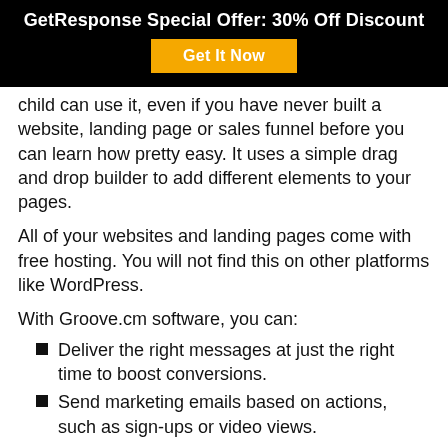GetResponse Special Offer: 30% Off Discount
Get It Now
child can use it, even if you have never built a website, landing page or sales funnel before you can learn how pretty easy. It uses a simple drag and drop builder to add different elements to your pages.
All of your websites and landing pages come with free hosting. You will not find this on other platforms like WordPress.
With Groove.cm software, you can:
Deliver the right messages at just the right time to boost conversions.
Send marketing emails based on actions, such as sign-ups or video views.
Automatically collect payments as well as deliver